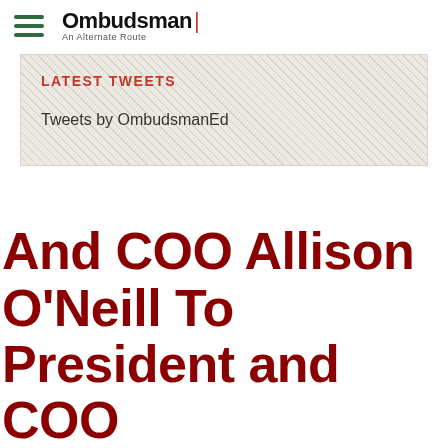Ombudsman | An Alternate Route
LATEST TWEETS
Tweets by OmbudsmanEd
ChanceLight™ Behavioral Health, Therapy And Education Promotes EVP And COO Allison O'Neill To President and COO